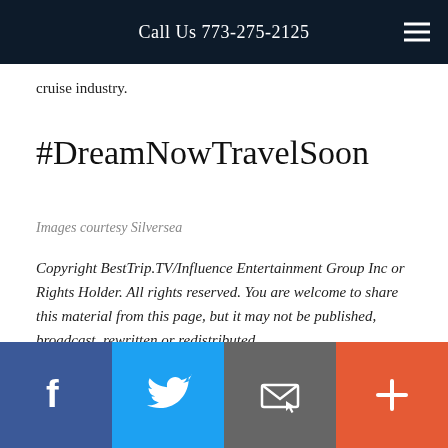Call Us 773-275-2125
cruise industry.
#DreamNowTravelSoon
Images courtesy Silversea
Copyright BestTrip.TV/Influence Entertainment Group Inc or Rights Holder. All rights reserved. You are welcome to share this material from this page, but it may not be published, broadcast, rewritten or redistributed.
Facebook | Twitter | Email | Plus